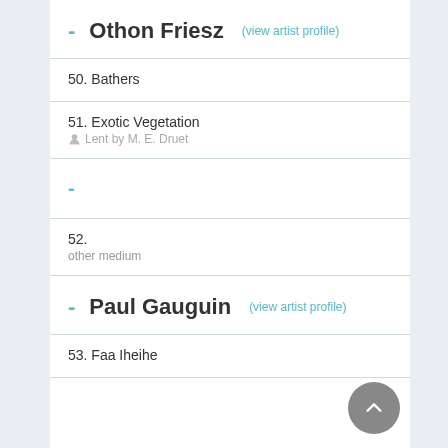- Othon Friesz (view artist profile)
50. Bathers
51. Exotic Vegetation
Lent by M. E. Druet
-
52.
other medium
- Paul Gauguin (view artist profile)
53. Faa Iheihe